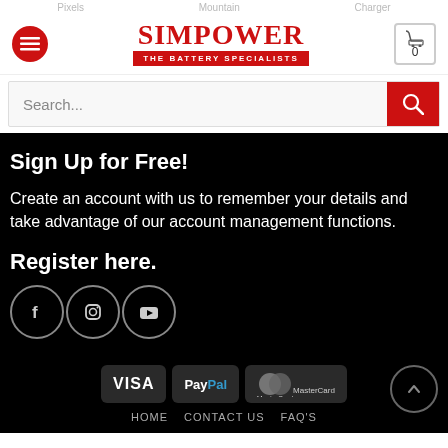Pixels  Mountain  Charger
[Figure (logo): Simpower - The Battery Specialists logo with red circle hamburger menu, red SIMPOWER wordmark with red banner subtitle, and cart icon showing 0]
[Figure (screenshot): Search bar with placeholder text 'Search...' and red search button]
Sign Up for Free!
Create an account with us to remember your details and take advantage of our account management functions.
Register here.
[Figure (illustration): Three social media icons in circles: Facebook (f), Instagram, YouTube (play button)]
[Figure (logo): Payment method logos: VISA, PayPal, MasterCard on dark backgrounds]
HOME   CONTACT US   FAQ'S